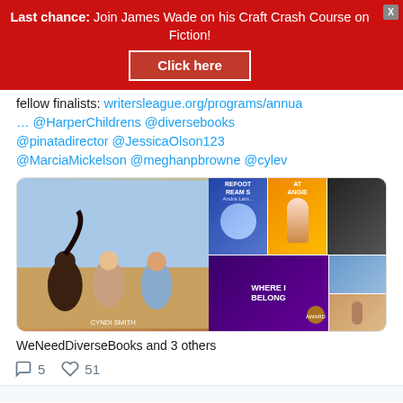Last chance: Join James Wade on his Craft Crash Course on Fiction! Click here
fellow finalists: writersleague.org/programs/annua … @HarperChildrens @diversebooks @pinatadirector @JessicaOlson123 @MarciaMickelson @meghanpbrowne @cylev
[Figure (photo): Grid of book covers: NEVERSEA on the left showing three children, and on the right multiple book covers including BAREFOOT DREAMS, AT ANGIE, WHERE I BELONG, and others.]
WeNeedDiverseBooks and 3 others
5  51